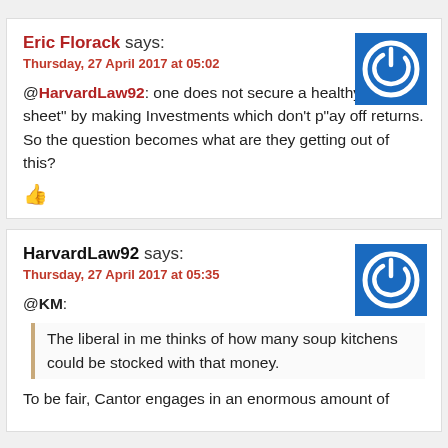Eric Florack says:
Thursday, 27 April 2017 at 05:02
@HarvardLaw92: one does not secure a healthy balance sheet" by making Investments which don't p"ay off returns. So the question becomes what are they getting out of this?
HarvardLaw92 says:
Thursday, 27 April 2017 at 05:35
@KM:
[blockquote] The liberal in me thinks of how many soup kitchens could be stocked with that money.
To be fair, Cantor engages in an enormous amount of